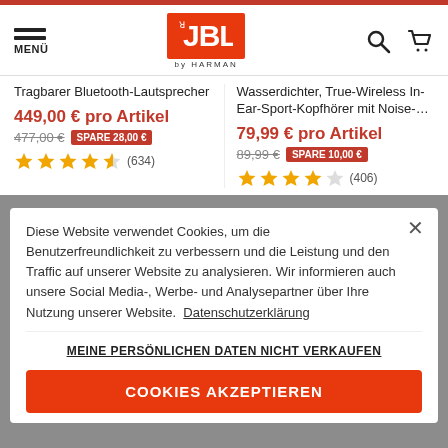[Figure (logo): JBL by HARMAN logo in orange/red rectangle with navigation menu and search/cart icons]
Tragbarer Bluetooth-Lautsprecher
449,00 € pro Artikel
477,00 € SPARE 28,00 €
★★★★☆ (634)
Wasserdichter, True-Wireless In-Ear-Sport-Kopfhörer mit Noise-...
79,99 € pro Artikel
89,99 € SPARE 10,00 €
★★★★☆ (406)
Diese Website verwendet Cookies, um die Benutzerfreundlichkeit zu verbessern und die Leistung und den Traffic auf unserer Website zu analysieren. Wir informieren auch unsere Social Media-, Werbe- und Analysepartner über Ihre Nutzung unserer Website. Datenschutzerklärung
MEINE PERSÖNLICHEN DATEN NICHT VERKAUFEN
COOKIES AKZEPTIEREN